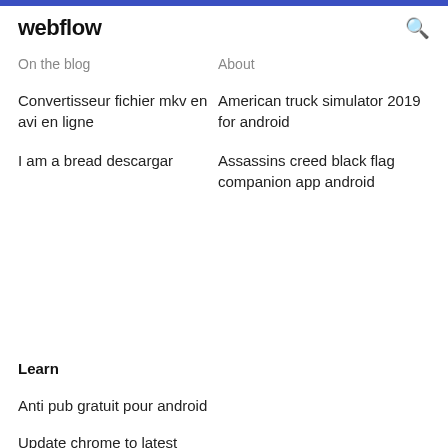webflow
On the blog
About
Convertisseur fichier mkv en avi en ligne
I am a bread descargar
American truck simulator 2019 for android
Assassins creed black flag companion app android
Learn
Anti pub gratuit pour android
Update chrome to latest